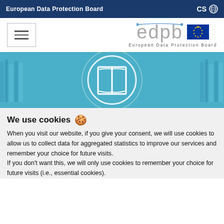European Data Protection Board | CS
[Figure (logo): EDPB logo with hamburger menu, edpb text logo and EU flag, subtitle: European Data Protection Board]
[Figure (photo): Banner image with open book icon and circular design overlay on blue library background]
We use cookies 🍪
When you visit our website, if you give your consent, we will use cookies to allow us to collect data for aggregated statistics to improve our services and remember your choice for future visits.
If you don't want this, we will only use cookies to remember your choice for future visits (i.e., essential cookies).